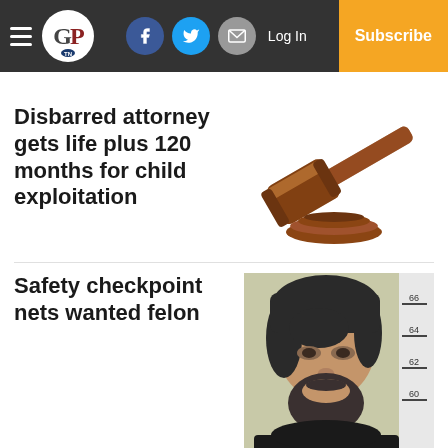CP — Log In | Subscribe
Disbarred attorney gets life plus 120 months for child exploitation
[Figure (illustration): Cartoon gavel/judge hammer icon on a wooden base]
Safety checkpoint nets wanted felon
[Figure (photo): Police mugshot of a bearded young man with dark hair against a height measurement chart background]